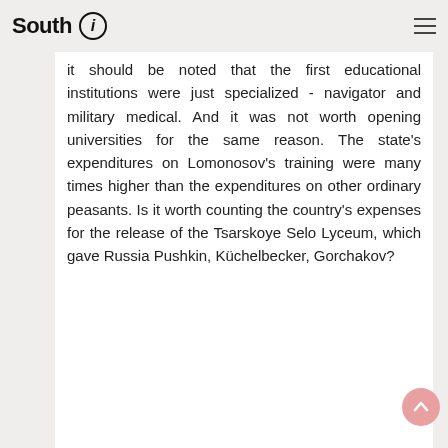South
it should be noted that the first educational institutions were just specialized - navigator and military medical. And it was not worth opening universities for the same reason. The state's expenditures on Lomonosov's training were many times higher than the expenditures on other ordinary peasants. Is it worth counting the country's expenses for the release of the Tsarskoye Selo Lyceum, which gave Russia Pushkin, Küchelbecker, Gorchakov?